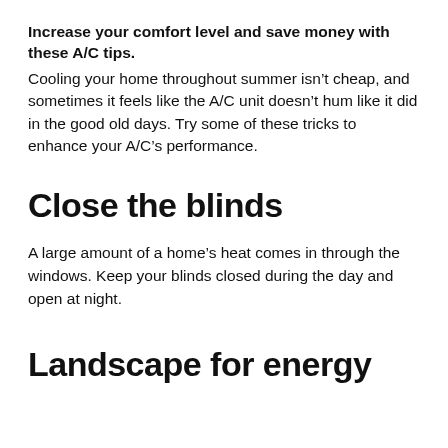Increase your comfort level and save money with these A/C tips.
Cooling your home throughout summer isn’t cheap, and sometimes it feels like the A/C unit doesn’t hum like it did in the good old days. Try some of these tricks to enhance your A/C’s performance.
Close the blinds
A large amount of a home’s heat comes in through the windows. Keep your blinds closed during the day and open at night.
Landscape for energy